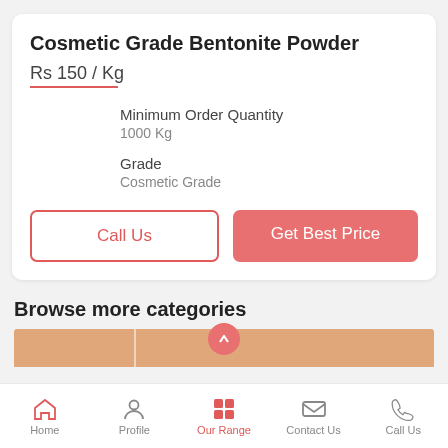Cosmetic Grade Bentonite Powder
Rs 150 / Kg
Minimum Order Quantity
1000 Kg
Grade
Cosmetic Grade
Call Us
Get Best Price
Browse more categories
Home  Profile  Our Range  Contact Us  Call Us